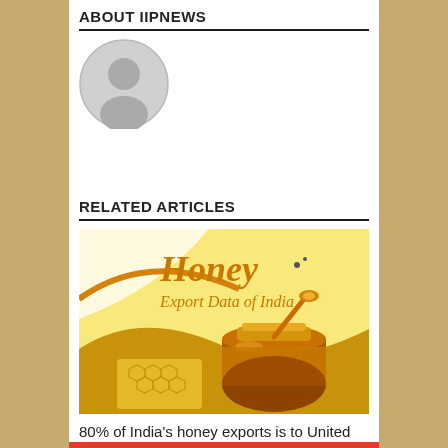ABOUT IIPNEWS
[Figure (illustration): Grey circular avatar/profile placeholder icon]
RELATED ARTICLES
[Figure (photo): Honey Export Data of India - image showing jar of honey, honeycomb, and honey dipper with golden/yellow decorative banner]
80% of India's honey exports is to United States